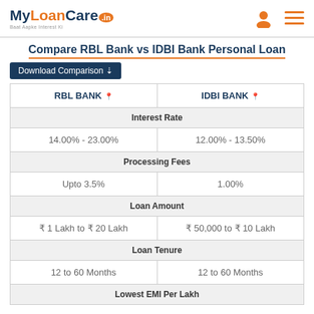MyLoanCare.in Baat Aapke Interest Ki
Compare RBL Bank vs IDBI Bank Personal Loan
Download Comparison
| RBL BANK | IDBI BANK |
| --- | --- |
| Interest Rate | Interest Rate |
| 14.00% - 23.00% | 12.00% - 13.50% |
| Processing Fees | Processing Fees |
| Upto 3.5% | 1.00% |
| Loan Amount | Loan Amount |
| ₹ 1 Lakh to ₹ 20 Lakh | ₹ 50,000 to ₹ 10 Lakh |
| Loan Tenure | Loan Tenure |
| 12 to 60 Months | 12 to 60 Months |
| Lowest EMI Per Lakh | Lowest EMI Per Lakh |